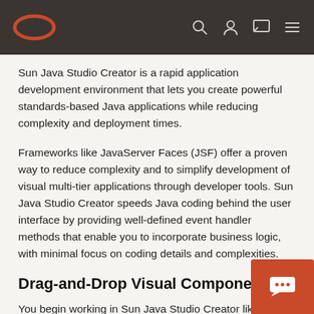Oracle navigation bar with logo and icons
Sun Java Studio Creator is a rapid application development environment that lets you create powerful standards-based Java applications while reducing complexity and deployment times.
Frameworks like JavaServer Faces (JSF) offer a proven way to reduce complexity and to simplify development of visual multi-tier applications through developer tools. Sun Java Studio Creator speeds Java coding behind the user interface by providing well-defined event handler methods that enable you to incorporate business logic, with minimal focus on coding details and complexities.
Drag-and-Drop Visual Components
You begin working in Sun Java Studio Creator like most other applications, by starting a new project. A project defines the content for your application or a single application module. In addition, you can use projec…